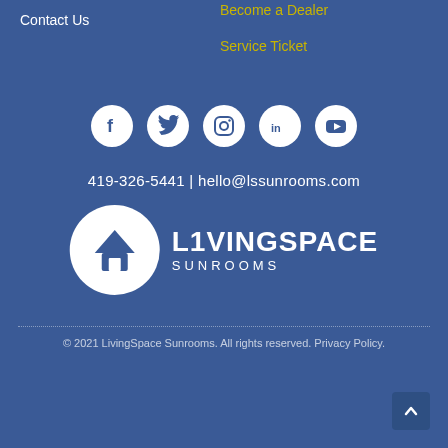Contact Us
Become a Dealer
Service Ticket
[Figure (illustration): Row of 5 social media icon circles (Facebook, Twitter, Instagram, LinkedIn, YouTube) in white on blue background]
419-326-5441 | hello@lssunrooms.com
[Figure (logo): LivingSpace Sunrooms logo: white circle with house icon, bold LIVINGSPACE text and SUNROOMS below]
© 2021 LivingSpace Sunrooms. All rights reserved. Privacy Policy.